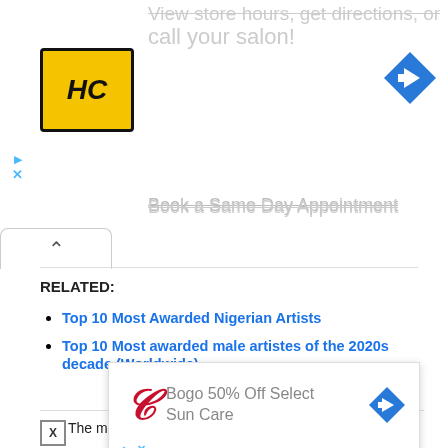[Figure (screenshot): Top advertisement banner with HC logo (yellow square with black HC text), gray text reading 'call your salon!' and a blue diamond navigation arrow icon]
Book a Same Day Appointment
[Figure (screenshot): Collapse chevron button (upward arrow)]
RELATED:
Top 10 Most Awarded Nigerian Artists
Top 10 Most awarded male artistes of the 2020s decade (Worldwide)
The meaning of what he said mostly is, “ I go by the na... now how to... ers, many pe...
[Figure (screenshot): Walgreens advertisement overlay: 'Bogo 50% Off Select Sun Care' with Walgreens cursive W logo and blue diamond navigation arrow]